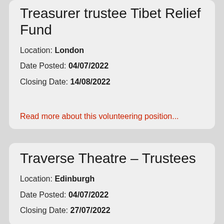Treasurer trustee Tibet Relief Fund
Location: London
Date Posted: 04/07/2022
Closing Date: 14/08/2022
Read more about this volunteering position...
Traverse Theatre – Trustees
Location: Edinburgh
Date Posted: 04/07/2022
Closing Date: 27/07/2022